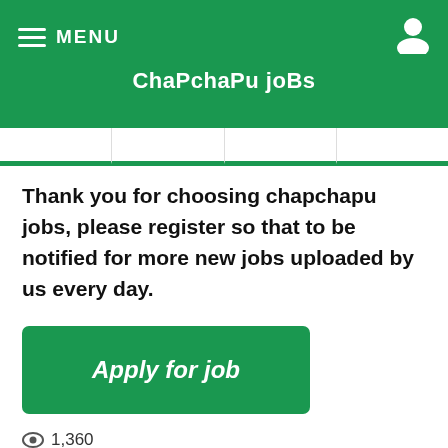MENU   ChaPchaPu joBs
[Figure (screenshot): Green navigation tab bar with underlined tabs]
Thank you for choosing chapchapu jobs, please register so that to be notified for more new jobs uploaded by us every day.
[Figure (other): Green button labeled 'Apply for job']
👁 1,360
JOIN OUR WHAT'S APP GROUPS/JIUNGE NA MAGROUP YETU